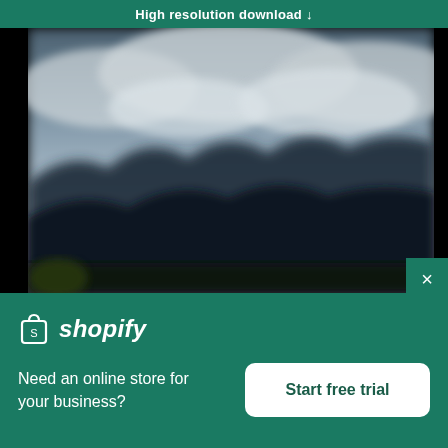High resolution download ↓
[Figure (photo): Blurred mountain landscape with dramatic cloudy sky and dark forested hills in the foreground]
[Figure (screenshot): Shopify advertisement banner with logo, text 'Need an online store for your business?' and 'Start free trial' button on green background]